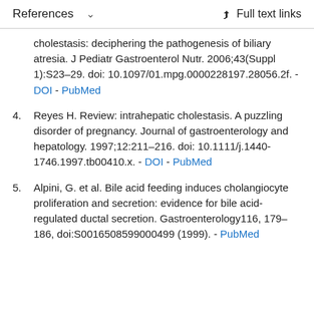References   Full text links
cholestasis: deciphering the pathogenesis of biliary atresia. J Pediatr Gastroenterol Nutr. 2006;43(Suppl 1):S23–29. doi: 10.1097/01.mpg.0000228197.28056.2f. - DOI - PubMed
4. Reyes H. Review: intrahepatic cholestasis. A puzzling disorder of pregnancy. Journal of gastroenterology and hepatology. 1997;12:211–216. doi: 10.1111/j.1440-1746.1997.tb00410.x. - DOI - PubMed
5. Alpini, G. et al. Bile acid feeding induces cholangiocyte proliferation and secretion: evidence for bile acid-regulated ductal secretion. Gastroenterology116, 179–186, doi:S0016508599000499 (1999). - PubMed